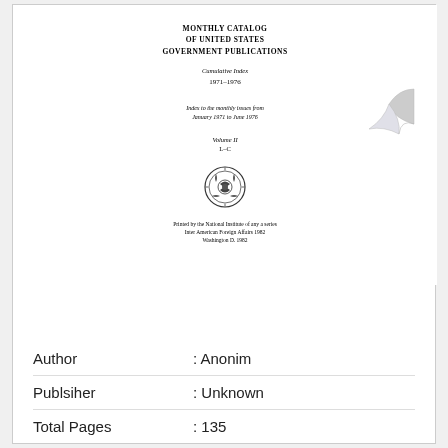MONTHLY CATALOG
OF UNITED STATES
GOVERNMENT PUBLICATIONS
Cumulative Index
1971–1976
Index to the monthly issues from
January 1971 to June 1976
Volume II
L–C
[Figure (illustration): Government/official seal/emblem in circular form]
Printed by the National Institute of any a series
Inter American Foreign Affairs 1982
Washington D. 1982
Author           : Anonim
Publsiher        : Unknown
Total Pages      : 135